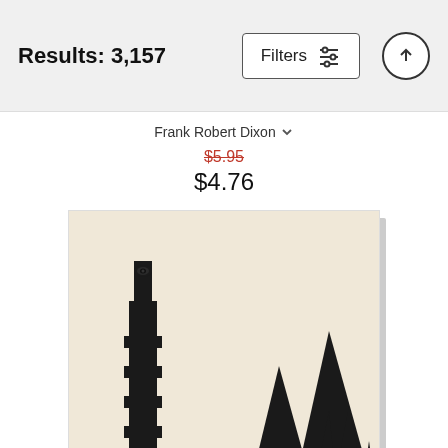Results: 3,157
Frank Robert Dixon
$5.95  $4.76
[Figure (illustration): Dark fantasy illustration on cream/beige background showing silhouette of a tall dark tower with an eye at the top (resembling Barad-dûr from Lord of the Rings) on the left, and jagged mountain peaks on the right, all in solid black against the warm beige background. The image is shown as a product card with a slight shadow effect.]